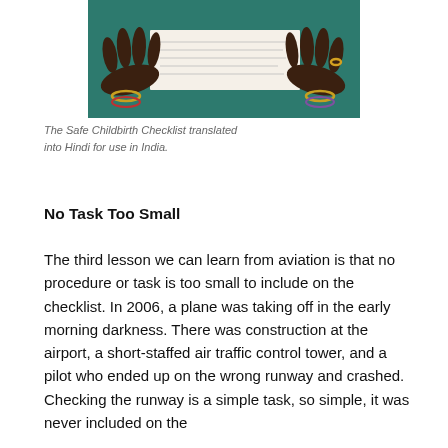[Figure (photo): Two dark-skinned hands with jewelry (bangles and a ring) resting on a teal surface with a paper document (the Safe Childbirth Checklist in Hindi) between them.]
The Safe Childbirth Checklist translated into Hindi for use in India.
No Task Too Small
The third lesson we can learn from aviation is that no procedure or task is too small to include on the checklist. In 2006, a plane was taking off in the early morning darkness. There was construction at the airport, a short-staffed air traffic control tower, and a pilot who ended up on the wrong runway and crashed. Checking the runway is a simple task, so simple, it was never included on the